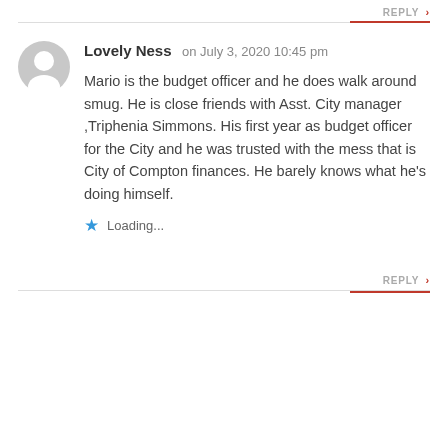REPLY >
Lovely Ness on July 3, 2020 10:45 pm
Mario is the budget officer and he does walk around smug. He is close friends with Asst. City manager ,Triphenia Simmons. His first year as budget officer for the City and he was trusted with the mess that is City of Compton finances. He barely knows what he's doing himself.
★ Loading...
REPLY >